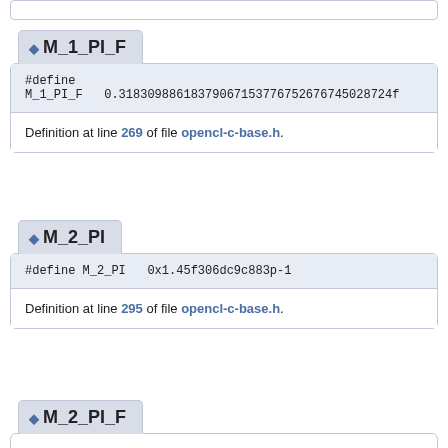M_1_PI_F
#define
M_1_PI_F   0.31830988618379067153776752676745028724f
Definition at line 269 of file opencl-c-base.h.
M_2_PI
#define M_2_PI   0x1.45f306dc9c883p-1
Definition at line 295 of file opencl-c-base.h.
M_2_PI_F